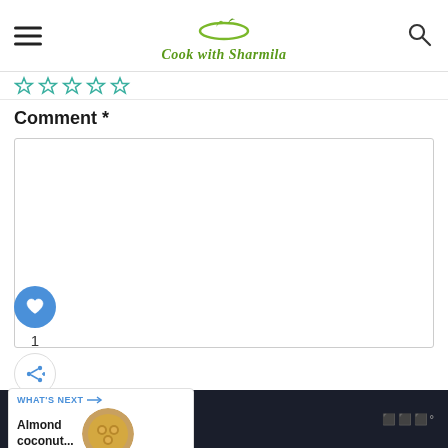Cook with Sharmila
[Figure (illustration): Five star rating icons in teal/green outline]
Comment *
[Figure (screenshot): Empty comment text area input box]
[Figure (infographic): Social widget with heart like button (count: 1) and share button]
[Figure (infographic): What's Next panel showing 'Almond coconut...' with circular food thumbnail]
[Figure (infographic): SHE CAN STEM advertisement banner in dark background]